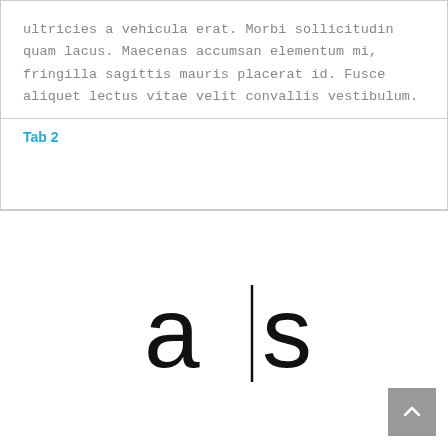ultricies a vehicula erat. Morbi sollicitudin quam lacus. Maecenas accumsan elementum mi, fringilla sagittis mauris placerat id. Fusce aliquet lectus vitae velit convallis vestibulum.
Tab 2
[Figure (logo): Logo showing letters 'a|s' in a minimalist sans-serif typeface with a vertical bar between the letters]